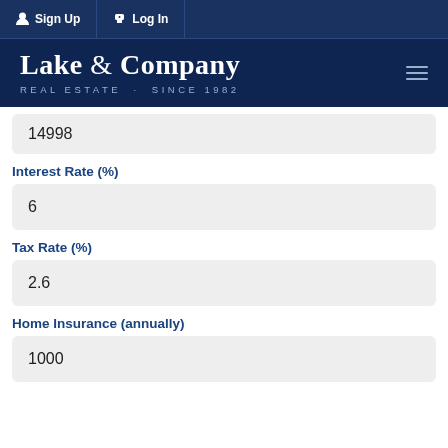Sign Up  Log In
[Figure (logo): Lake & Company Real Estate logo with text 'REAL ESTATE · SINCE 1982' on dark navy background]
14998
Interest Rate (%)
6
Tax Rate (%)
2.6
Home Insurance (annually)
1000